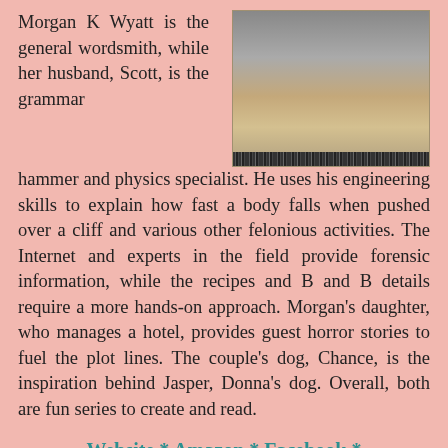Morgan K Wyatt is the general wordsmith, while her husband, Scott, is the grammar hammer and physics specialist. He uses his engineering skills to explain how fast a body falls when pushed over a cliff and various other felonious activities. The Internet and experts in the field provide forensic information, while the recipes and B and B details require a more hands-on approach. Morgan's daughter, who manages a hotel, provides guest horror stories to fuel the plot lines. The couple's dog, Chance, is the inspiration behind Jasper, Donna's dog. Overall, both are fun series to create and read.
[Figure (photo): Photo of two people standing together, a man and a woman, with a barcode strip visible at the bottom of the image.]
Website * Amazon * Facebook * Goodreads * Pinterest * Twitter
---